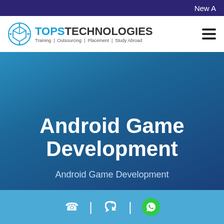New A
[Figure (logo): TOPS Technologies logo with cube icon and tagline: Training | Outsourcing | Placement | Study Abroad]
Android Game Development
Android Game Development
Phone | Callback | WhatsApp icons